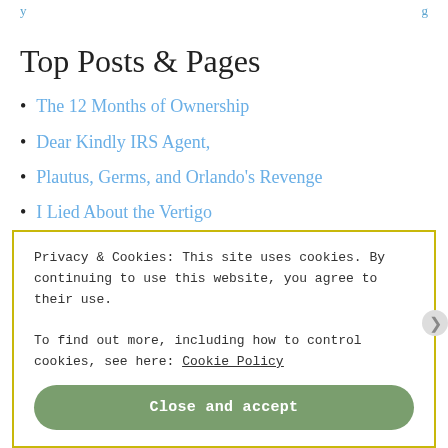Top Posts & Pages
The 12 Months of Ownership
Dear Kindly IRS Agent,
Plautus, Germs, and Orlando's Revenge
I Lied About the Vertigo
Archives
Privacy & Cookies: This site uses cookies. By continuing to use this website, you agree to their use.
To find out more, including how to control cookies, see here: Cookie Policy
Close and accept